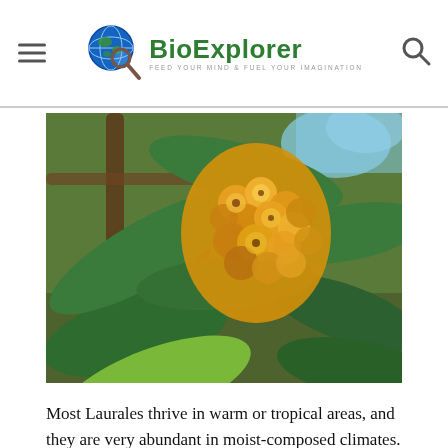BioExplorer — Feed Your Mind & Fuel Your Imagination
[Figure (photo): Close-up photograph of Laurales plant showing yellow/golden fluffy flowers blooming among large dark green leaves on a tree branch.]
Most Laurales thrive in warm or tropical areas, and they are very abundant in moist-composed climates.
Lauraceae (Laurel Family) is made up of 50